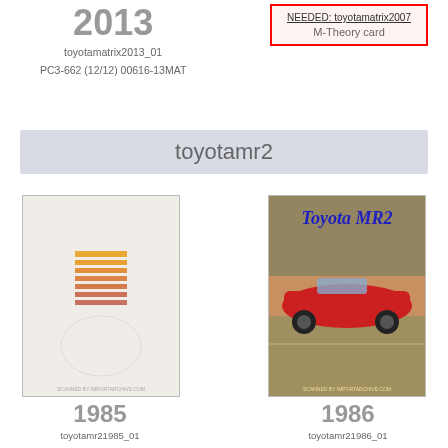2013
toyotamatrix2013_01
PC3-662 (12/12) 00616-13MAT
NEEDED: toyotamatrix2007
M-Theory card
toyotamr2
[Figure (photo): 1985 Toyota MR2 brochure cover - plain white with orange striped logo]
1985
toyotamr21985_01
P/5-015 (12/84) 00600-01303
[Figure (photo): 1986 Toyota MR2 brochure cover - red MR2 car driving on road with Toyota MR2 script logo]
1986
toyotamr21986_01
P/6-004 (8/85) 00600-01405
Early Version
[Figure (photo): Bottom left thumbnail - MR2 cursive logo on light blue background]
[Figure (photo): Bottom right thumbnail - dark background brochure cover]